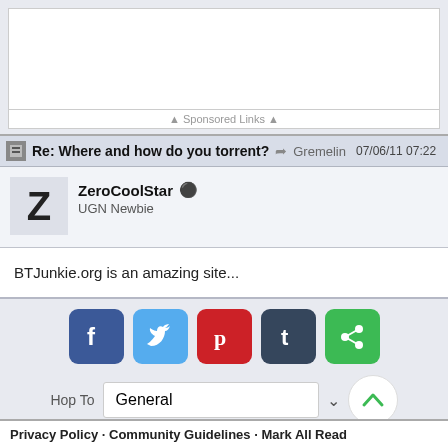[Figure (screenshot): Advertisement banner area (white box)]
▲ Sponsored Links ▲
Re: Where and how do you torrent? ➤ Gremelin 07/06/11 07:22
ZeroCoolStar ☺ UGN Newbie
BTJunkie.org is an amazing site...
[Figure (screenshot): Social share buttons: Facebook, Twitter, Pinterest, Tumblr, Google+]
Hop To General
Privacy Policy · Community Guidelines · Mark All Read